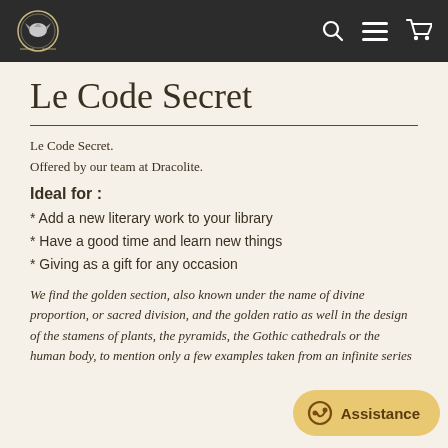Navigation bar with logo and icons (search, menu, cart)
Le Code Secret
Le Code Secret.
Offered by our team at Dracolite.
Ideal for :
* Add a new literary work to your library
* Have a good time and learn new things
* Giving as a gift for any occasion
We find the golden section, also known under the name of divine proportion, or sacred division, and the golden ratio as well in the design of the stamens of plants, the pyramids, the Gothic cathedrals or the human body, to mention only a few examples taken from an infinite series